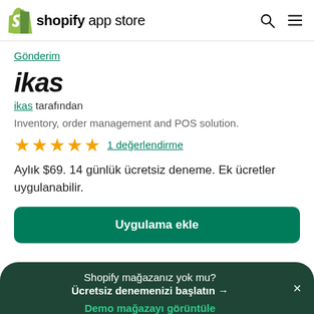shopify app store
Gönderim
ikas
ikas tarafından
Inventory, order management and POS solution.
★★★★★  1 değerlendirme
Aylık $69. 14 günlük ücretsiz deneme. Ek ücretler uygulanabilir.
Uygulama ekle
Shopify mağazanız yok mu? Ücretsiz denemenizi başlatın →
Demo mağazayı görüntüle